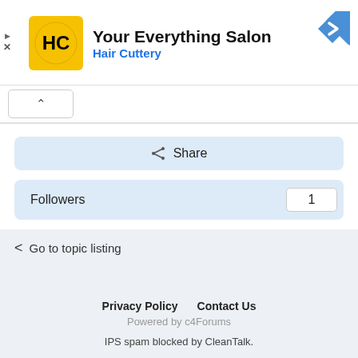[Figure (logo): Hair Cuttery advertisement banner with yellow HC logo, title 'Your Everything Salon', subtitle 'Hair Cuttery', and blue diamond navigation icon]
Share
Followers  1
Go to topic listing
Privacy Policy   Contact Us
Powered by c4Forums
IPS spam blocked by CleanTalk.